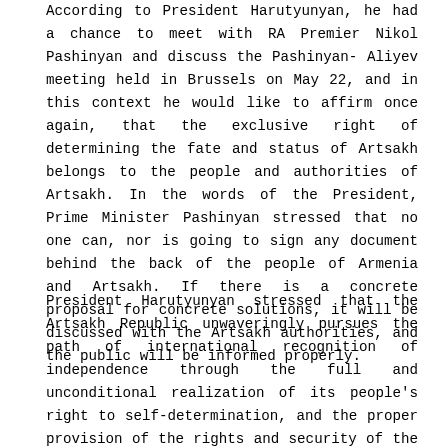According to President Harutyunyan, he had a chance to meet with RA Premier Nikol Pashinyan and discuss the Pashinyan-Aliyev meeting held in Brussels on May 22, and in this context he would like to affirm once again, that the exclusive right of determining the fate and status of Artsakh belongs to the people and authorities of Artsakh. In the words of the President, Prime Minister Pashinyan stressed that no one can, nor is going to sign any document behind the back of the people of Armenia and Artsakh. If there is a concrete proposal for concrete solutions, it will be discussed with the Artsakh authorities, and the public will be informed properly.
President Harutyunyan stressed that the Artsakh Republic unwaveringly pursues the path of international recognition of independence through the full and unconditional realization of its people's right to self-determination, and the proper provision of the rights and security of the people of Artsakh is only possible outside Azerbaijan.